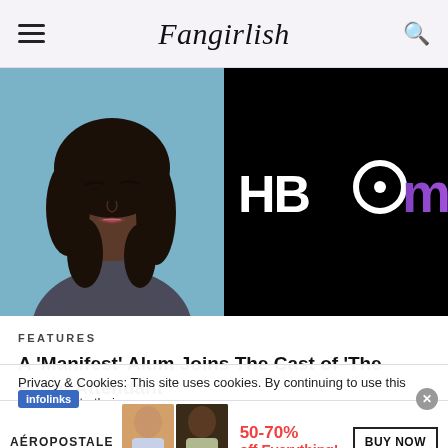Fangirlish
[Figure (photo): Split image: left side shows a Black actress with long curly hair against a blue background (headshot/portrait); right side shows the HBO Max logo in white and purple on black background]
FEATURES
A 'Manifest' Alum Joins The Cast of 'The Flight Attendant'
Privacy & Cookies: This site uses cookies. By continuing to use this you agree to their use.
[Figure (screenshot): Aéropostale advertisement banner showing two models and text '50-70% off Everything!' with a BUY NOW button]